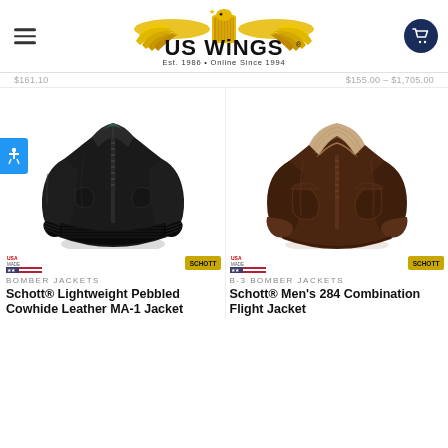[Figure (logo): US Wings logo with golden eagle wings and black text 'US WINGS', tagline 'Est. 1986 • Online Since 1994']
$161.10
$155.00 – $1,705.00
[Figure (photo): Black leather MA-1 bomber jacket on white background]
[Figure (photo): Brown leather B-3 combination flight jacket with shearling collar on white background]
BOMBER JACKETS
Schott® Lightweight Pebbled Cowhide Leather MA-1 Jacket
B-3 BOMBER JACKETS
Schott® Men's 284 Combination Flight Jacket